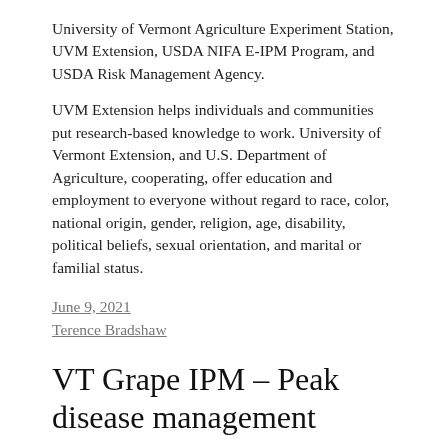University of Vermont Agriculture Experiment Station, UVM Extension, USDA NIFA E-IPM Program, and USDA Risk Management Agency.
UVM Extension helps individuals and communities put research-based knowledge to work. University of Vermont Extension, and U.S. Department of Agriculture, cooperating, offer education and employment to everyone without regard to race, color, national origin, gender, religion, age, disability, political beliefs, sexual orientation, and marital or familial status.
June 9, 2021
Terence Bradshaw
VT Grape IPM – Peak disease management
I apologize for this overdue communication. Some grapes at the UVM Vineyard in South Burlington were starting bloom yesterday, and we are in peak disease management season. I'll